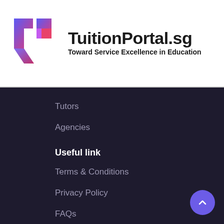[Figure (logo): TuitionPortal.sg logo: stylized T-shaped lightning bolt icon in blue, purple, red/pink gradient colors, followed by brand name and tagline]
TuitionPortal.sg
Toward Service Excellence in Education
Tutors
Agencies
Useful link
Terms & Conditions
Privacy Policy
FAQs